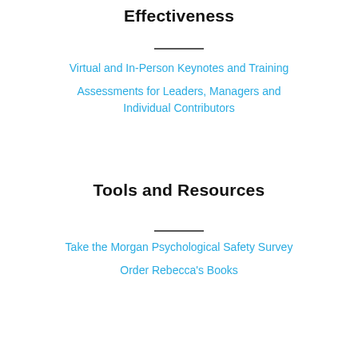Effectiveness
Virtual and In-Person Keynotes and Training
Assessments for Leaders, Managers and Individual Contributors
Tools and Resources
Take the Morgan Psychological Safety Survey
Order Rebecca's Books